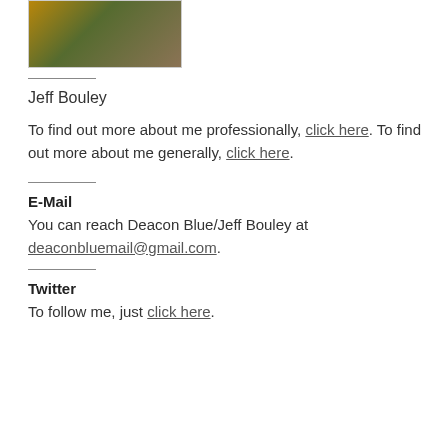[Figure (photo): A photograph of a person in a green shirt with an orange/tan jacket background]
Jeff Bouley
To find out more about me professionally, click here. To find out more about me generally, click here.
E-Mail
You can reach Deacon Blue/Jeff Bouley at deaconbluemail@gmail.com.
Twitter
To follow me, just click here.